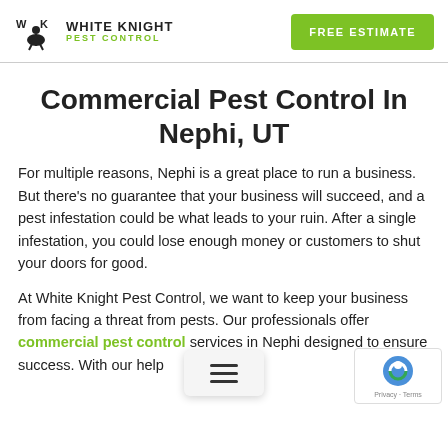White Knight Pest Control — FREE ESTIMATE
Commercial Pest Control In Nephi, UT
For multiple reasons, Nephi is a great place to run a business. But there's no guarantee that your business will succeed, and a pest infestation could be what leads to your ruin. After a single infestation, you could lose enough money or customers to shut your doors for good.
At White Knight Pest Control, we want to keep your business from facing a threat from pests. Our professionals offer commercial pest control services in Nephi designed to ensure success. With our help